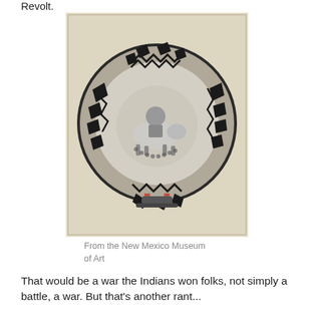Revolt.
[Figure (photo): A decorative ceramic bowl photographed from above, featuring black and white geometric patterns around the rim and a central figurative scene depicting a person riding an animal, displayed against a light beige background. From the New Mexico Museum of Art.]
From the New Mexico Museum of Art
That would be a war the Indians won folks, not simply a battle, a war. But that's another rant...